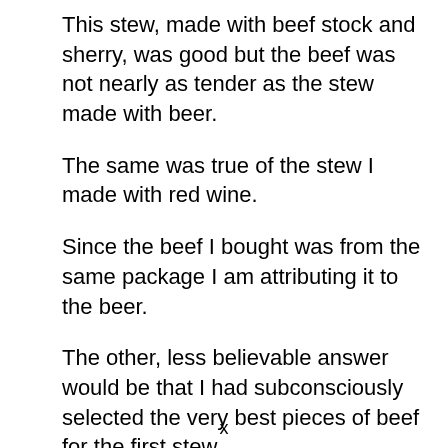This stew, made with beef stock and sherry, was good but the beef was not nearly as tender as the stew made with beer.
The same was true of the stew I made with red wine.
Since the beef I bought was from the same package I am attributing it to the beer.
The other, less believable answer would be that I had subconsciously selected the very best pieces of beef for the first stew.
x